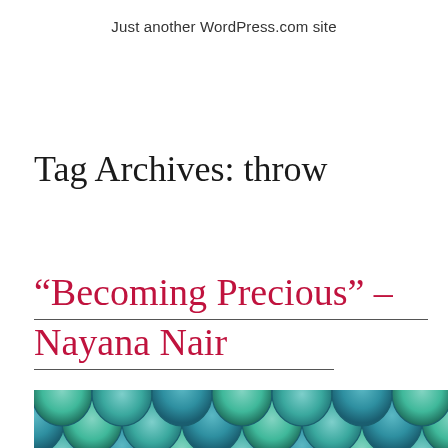Just another WordPress.com site
Tag Archives: throw
“Becoming Precious” – Nayana Nair
[Figure (photo): Decorative fish scale / tile pattern in shades of teal and blue-green, partially visible at bottom of page]